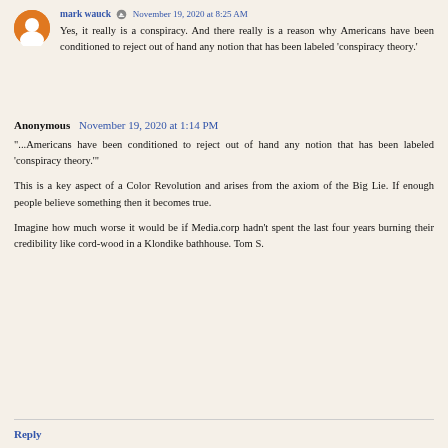mark wauck · November 19, 2020 at 8:25 AM
Yes, it really is a conspiracy. And there really is a reason why Americans have been conditioned to reject out of hand any notion that has been labeled 'conspiracy theory.'
Anonymous  November 19, 2020 at 1:14 PM
"...Americans have been conditioned to reject out of hand any notion that has been labeled 'conspiracy theory.'"
This is a key aspect of a Color Revolution and arises from the axiom of the Big Lie. If enough people believe something then it becomes true.
Imagine how much worse it would be if Media.corp hadn't spent the last four years burning their credibility like cord-wood in a Klondike bathhouse. Tom S.
Reply